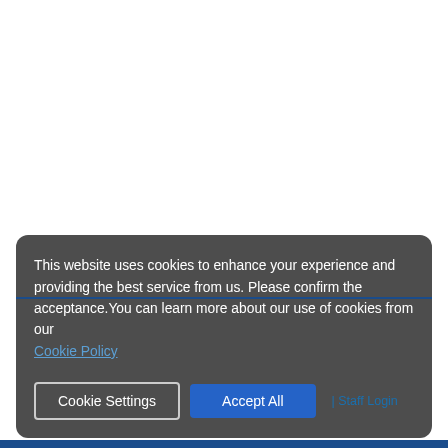This website uses cookies to enhance your experience and providing the best service from us. Please confirm the acceptance.You can learn more about our use of cookies from our Cookie Policy
Cookie Settings
Accept All
| Staff Login